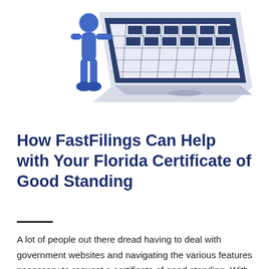[Figure (illustration): Illustration of a blue stick-figure person standing next to a large isometric laptop/computer with a grid-patterned screen, on a white background.]
How FastFilings Can Help with Your Florida Certificate of Good Standing
A lot of people out there dread having to deal with government websites and navigating the various features necessary to request a certificate of good standing. With FastFilings, though, it's a breeze. Our online platform gives you the tools you need to request your official Florida Certificate of Status (COS) from the